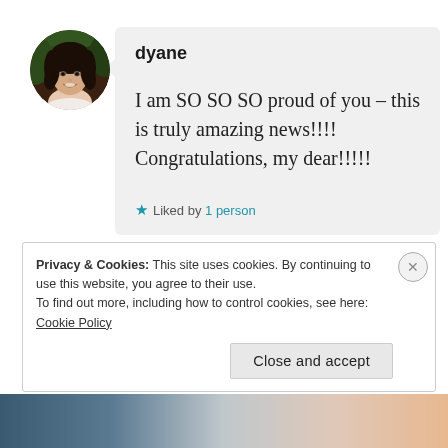[Figure (photo): Circular avatar photo of a woman with dark curly hair, smiling, with green foliage background]
dyane
I am SO SO SO proud of you – this is truly amazing news!!!! Congratulations, my dear!!!!!
★ Liked by 1 person
Privacy & Cookies: This site uses cookies. By continuing to use this website, you agree to their use.
To find out more, including how to control cookies, see here: Cookie Policy
Close and accept